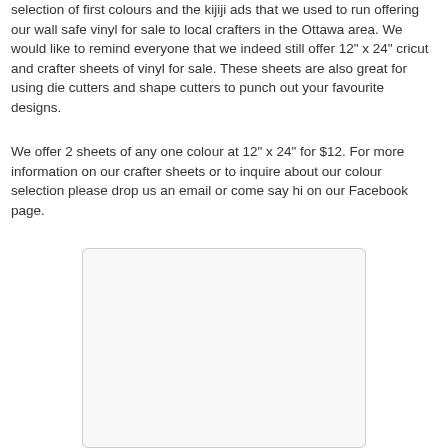selection of first colours and the kijiji ads that we used to run offering our wall safe vinyl for sale to local crafters in the Ottawa area. We would like to remind everyone that we indeed still offer 12" x 24" cricut and crafter sheets of vinyl for sale. These sheets are also great for using die cutters and shape cutters to punch out your favourite designs.
We offer 2 sheets of any one colour at 12" x 24" for $12. For more information on our crafter sheets or to inquire about our colour selection please drop us an email or come say hi on our Facebook page.
[Figure (photo): A light gray rounded rectangle placeholder image box]